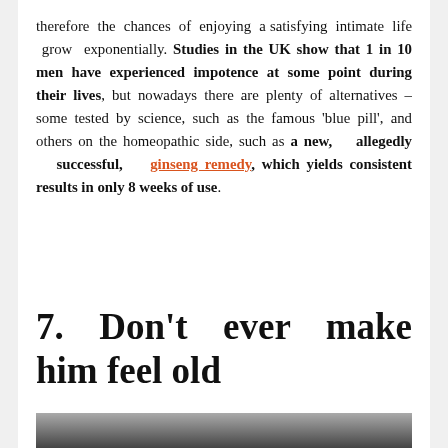therefore the chances of enjoying a satisfying intimate life grow exponentially. Studies in the UK show that 1 in 10 men have experienced impotence at some point during their lives, but nowadays there are plenty of alternatives – some tested by science, such as the famous 'blue pill', and others on the homeopathic side, such as a new, allegedly successful, ginseng remedy, which yields consistent results in only 8 weeks of use.
7. Don't ever make him feel old
[Figure (photo): Photo of a couple, a woman with blonde hair and a man with dark hair, shown close together]